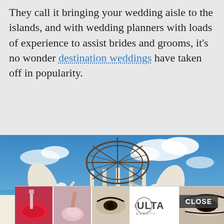They call it bringing your wedding aisle to the islands, and with wedding planners with loads of experience to assist brides and grooms, it's no wonder destination weddings have taken off in popularity.
[Figure (photo): Beach wedding venue with ornate ironwork dome gazebo flanked by two white angel statues with wings, ocean and blue sky in background. An advertisement bar at the bottom shows makeup/beauty product images and ULTA Beauty logo with SHOP NOW button.]